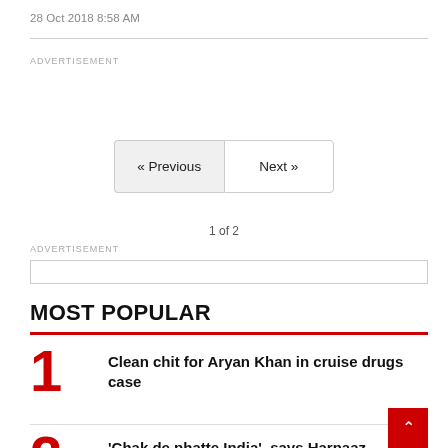28 Oct 2018 8:58 AM
ADVERTISEMENT
« Previous   Next »
1 of 2
ADVERTISEMENT
MOST POPULAR
1  Clean chit for Aryan Khan in cruise drugs case
2  'Chak de phatte India', says Harnaaz Sandhu after becoming